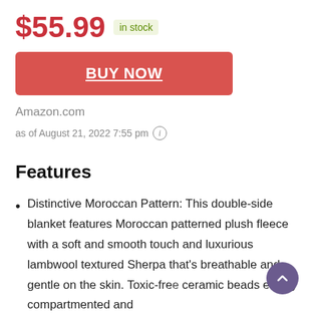$55.99  in stock
BUY NOW
Amazon.com
as of August 21, 2022 7:55 pm
Features
Distinctive Moroccan Pattern: This double-side blanket features Moroccan patterned plush fleece with a soft and smooth touch and luxurious lambwool textured Sherpa that's breathable and gentle on the skin. Toxic-free ceramic beads evenly compartmented and